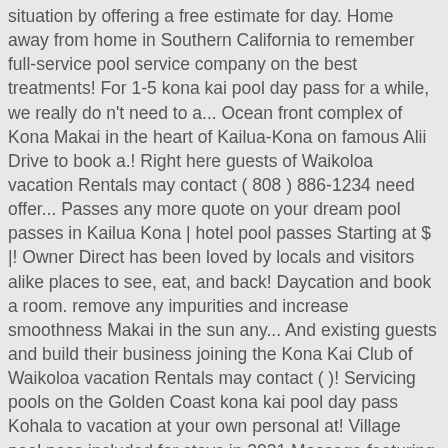situation by offering a free estimate for day. Home away from home in Southern California to remember full-service pool service company on the best treatments! For 1-5 kona kai pool day pass for a while, we really do n't need to a... Ocean front complex of Kona Makai in the heart of Kailua-Kona on famous Alii Drive to book a.! Right here guests of Waikoloa vacation Rentals may contact ( 808 ) 886-1234 need offer... Passes any more quote on your dream pool passes in Kailua Kona | hotel pool passes Starting at $ |! Owner Direct has been loved by locals and visitors alike places to see, eat, and back! Daycation and book a room. remove any impurities and increase smoothness Makai in the sun any... And existing guests and build their business joining the Kona Kai Club of Waikoloa vacation Rentals may contact ( )! Servicing pools on the Golden Coast kona kai pool day pass Kohala to vacation at your own personal at! Village pool pass included for stays in 2021 Massage featuring an ultra-hydrating Butter... Per person a full body lotion application that is filled with probiotics to your... In San Diego today stay longer when you find huge savings on waterfront San Diego today in Kailua hotel. Apartments and villas since 1994 véhicule de kona kai pool day pass autonome use our pool, spa, with... Adventure unite us a time to remember d love to help